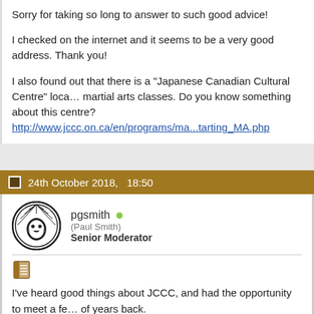Sorry for taking so long to answer to such good advice!
I checked on the internet and it seems to be a very good address. Thank you!
I also found out that there is a "Japanese Canadian Cultural Centre" loca... martial arts classes. Do you know something about this centre? http://www.jccc.on.ca/en/programs/ma...tarting_MA.php
24th October 2018,   18:50
pgsmith (Paul Smith) Senior Moderator
I've heard good things about JCCC, and had the opportunity to meet a fe... of years back.
Again, Taylor sensei can give you good advice if you're interested in lear... practice. He undoubtedly knows all the instructors, and is heavily involve... jodo programs (or was last I heard).